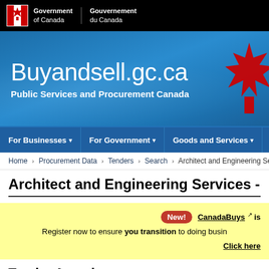Government of Canada / Gouvernement du Canada
Buyandsell.gc.ca
Public Services and Procurement Canada
For Businesses | For Government | Goods and Services | Applic...
Home > Procurement Data > Tenders > Search > Architect and Engineering Services -
Architect and Engineering Services - Bu
New! CanadaBuys is... Register now to ensure you transition to doing busin... Click here
Tender Award